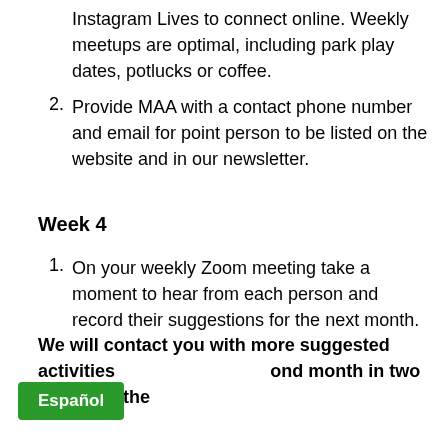Instagram Lives to connect online. Weekly meetups are optimal, including park play dates, potlucks or coffee.
Provide MAA with a contact phone number and email for point person to be listed on the website and in our newsletter.
Week 4
On your weekly Zoom meeting take a moment to hear from each person and record their suggestions for the next month.
We will contact you with more suggested activities and month in two weeks. In the